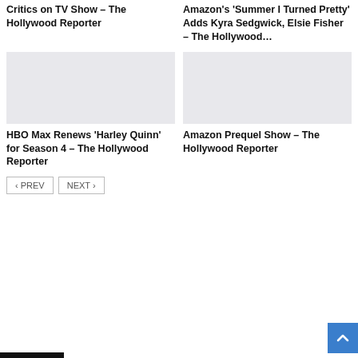Critics on TV Show – The Hollywood Reporter
Amazon's 'Summer I Turned Pretty' Adds Kyra Sedgwick, Elsie Fisher – The Hollywood…
[Figure (photo): Placeholder image for article about HBO Max Renews 'Harley Quinn' for Season 4]
[Figure (photo): Placeholder image for article about Amazon Prequel Show]
HBO Max Renews 'Harley Quinn' for Season 4 – The Hollywood Reporter
Amazon Prequel Show – The Hollywood Reporter
‹ PREV   NEXT ›